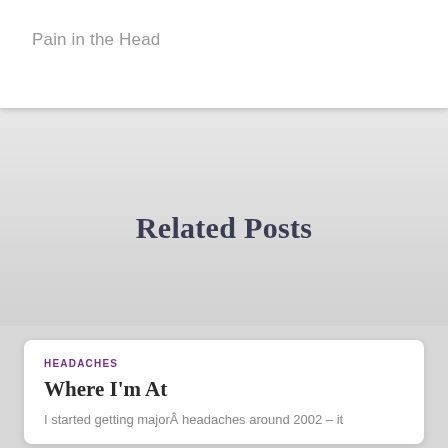Pain in the Head
Related Posts
HEADACHES
Where I'm At
I started getting majorÂ headaches around 2002 – it